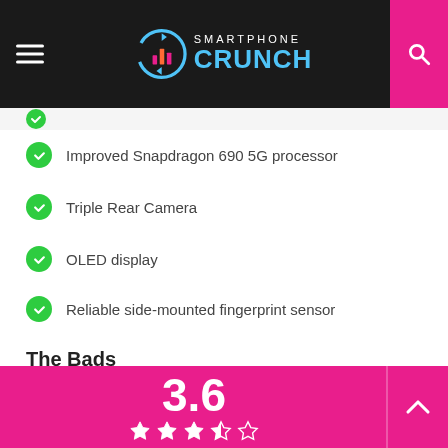Smartphone Crunch
Improved Snapdragon 690 5G processor
Triple Rear Camera
OLED display
Reliable side-mounted fingerprint sensor
The Bads
The camera is sluggish in night mode
Wireless charging is not available
No Gorilla Glass Protection
Too Expensive
[Figure (other): Rating score 3.6 out of 5 stars on pink background with star rating display]